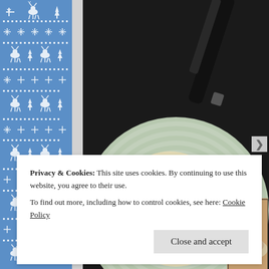[Figure (photo): A light green ribbed bowl containing cream soup garnished with chopped herbs and a swirl of cream, with a dark spoon resting in it, photographed from above on a dark background. A small thumbnail of another dish is visible in the bottom right corner.]
Privacy & Cookies: This site uses cookies. By continuing to use this website, you agree to their use.
To find out more, including how to control cookies, see here: Cookie Policy
Close and accept